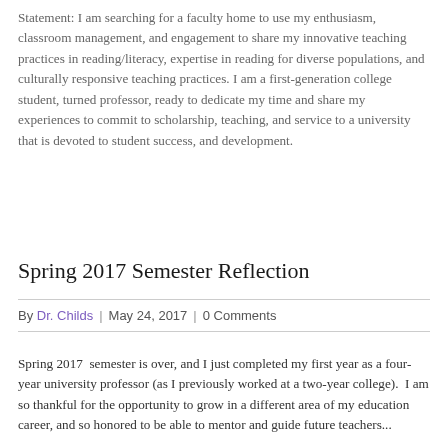Statement: I am searching for a faculty home to use my enthusiasm, classroom management, and engagement to share my innovative teaching practices in reading/literacy, expertise in reading for diverse populations, and culturally responsive teaching practices. I am a first-generation college student, turned professor, ready to dedicate my time and share my experiences to commit to scholarship, teaching, and service to a university that is devoted to student success, and development.
Spring 2017 Semester Reflection
By Dr. Childs | May 24, 2017 | 0 Comments
Spring 2017 semester is over, and I just completed my first year as a four-year university professor (as I previously worked at a two-year college). I am so thankful for the opportunity to grow in a different area of my education career, and so honored to be able to mentor and guide future teachers...